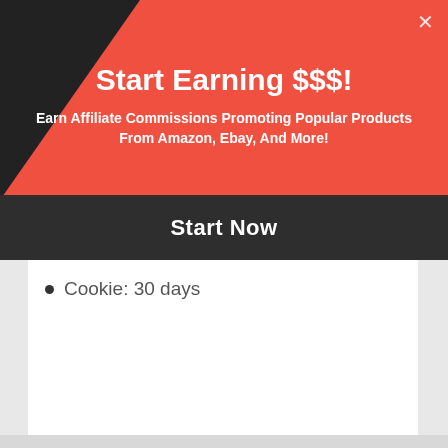Start Earning $$$!
Earn Affiliate Commissions Promoting Popular Products From Amazon, Ebay, And More!
Start Now
Cookie: 30 days